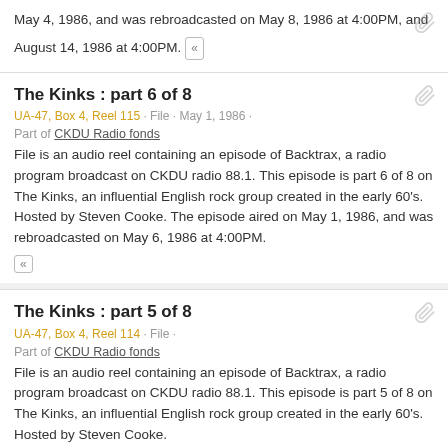May 4, 1986, and was rebroadcasted on May 8, 1986 at 4:00PM, and August 14, 1986 at 4:00PM. «
The Kinks : part 6 of 8
UA-47, Box 4, Reel 115 · File · May 1, 1986 ·
Part of CKDU Radio fonds
File is an audio reel containing an episode of Backtrax, a radio program broadcast on CKDU radio 88.1. This episode is part 6 of 8 on The Kinks, an influential English rock group created in the early 60's. Hosted by Steven Cooke. The episode aired on May 1, 1986, and was rebroadcasted on May 6, 1986 at 4:00PM.
The Kinks : part 5 of 8
UA-47, Box 4, Reel 114 · File ·
Part of CKDU Radio fonds
File is an audio reel containing an episode of Backtrax, a radio program broadcast on CKDU radio 88.1. This episode is part 5 of 8 on The Kinks, an influential English rock group created in the early 60's. Hosted by Steven Cooke.
The Kinks : part 3 of 8